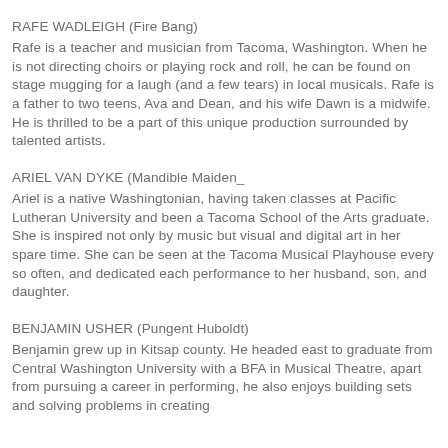RAFE WADLEIGH (Fire Bang)
Rafe is a teacher and musician from Tacoma, Washington. When he is not directing choirs or playing rock and roll, he can be found on stage mugging for a laugh (and a few tears) in local musicals. Rafe is a father to two teens, Ava and Dean, and his wife Dawn is a midwife. He is thrilled to be a part of this unique production surrounded by talented artists.
ARIEL VAN DYKE (Mandible Maiden_
Ariel is a native Washingtonian, having taken classes at Pacific Lutheran University and been a Tacoma School of the Arts graduate. She is inspired not only by music but visual and digital art in her spare time. She can be seen at the Tacoma Musical Playhouse every so often, and dedicated each performance to her husband, son, and daughter.
BENJAMIN USHER (Pungent Huboldt)
Benjamin grew up in Kitsap county. He headed east to graduate from Central Washington University with a BFA in Musical Theatre, apart from pursuing a career in performing, he also enjoys building sets and solving problems in creating